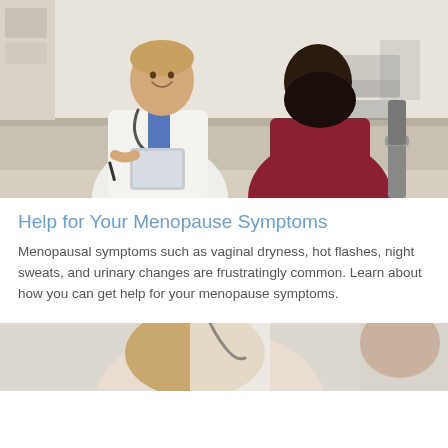[Figure (photo): A smiling male doctor in a white coat holding a tablet, sitting across a desk from a female patient in a dark red top, in a medical office setting.]
Help for Your Menopause Symptoms
Menopausal symptoms such as vaginal dryness, hot flashes, night sweats, and urinary changes are frustratingly common. Learn about how you can get help for your menopause symptoms.
[Figure (photo): Partial view of a woman and a doctor in a medical consultation setting, cropped at the bottom of the page.]